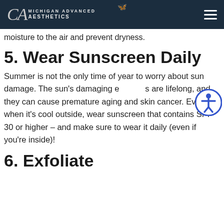Michigan Advanced Aesthetics
moisture to the air and prevent dryness.
5. Wear Sunscreen Daily
Summer is not the only time of year to worry about sun damage. The sun's damaging effects are lifelong, and they can cause premature aging and skin cancer. Even when it's cool outside, wear sunscreen that contains SPF 30 or higher – and make sure to wear it daily (even if you're inside)!
6. Exfoliate